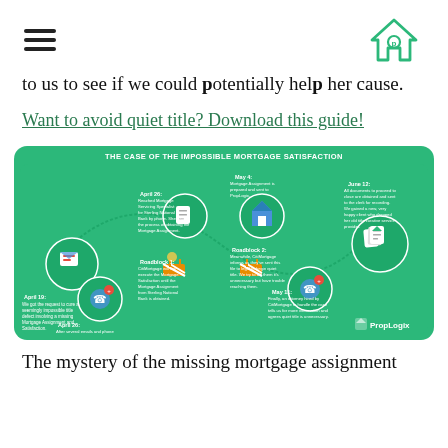[hamburger menu icon] [PropLogix house logo]
to us to see if we could potentially help her cause.
Want to avoid quiet title? Download this guide!
[Figure (infographic): Green infographic titled 'THE CASE OF THE IMPOSSIBLE MORTGAGE SATISFACTION' showing a timeline with icons for: April 19 - request to cure title defect involving missing Mortgage Assignment and Satisfaction; April 26 - spoke to Supervisor at CitiMortgage; April 26 - Reached Mortgage Servicing Specialist for Sterling National Bank by phone; Roadblock 1 - CitiMortgage will not execute Mortgage Satisfaction until Mortgage Assignment from Sterling National Bank is obtained; May 4 - Mortgage Assignment is prepared and sent to PropLogix; Roadblock 2 - Meanwhile CitiMortgage informs they've sent file to legal to begin quiet title; May 11 - attorney hired by CitiMortgage to handle the case tells us quiet title is unnecessary; June 12 - All documents to proceed to close obtained and sent to clerk for recording, very happy client. PropLogix logo in bottom right.]
The mystery of the missing mortgage assignment